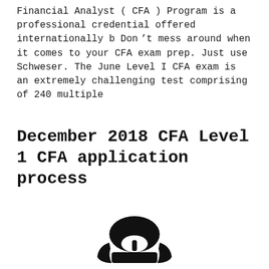Financial Analyst ( CFA ) Program is a professional credential offered internationally b Don't mess around when it comes to your CFA exam prep. Just use Schweser. The June Level I CFA exam is an extremely challenging test comprising of 240 multiple
December 2018 CFA Level 1 CFA application process
[Figure (illustration): Black silhouette of a warrior or gladiator helmet/mask icon]